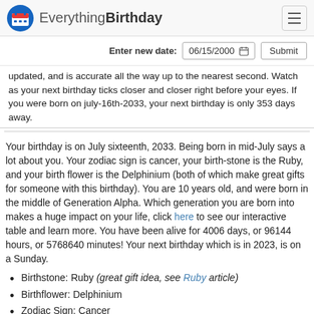EverythingBirthday
Enter new date: 06/15/2000   Submit
updated, and is accurate all the way up to the nearest second. Watch as your next birthday ticks closer and closer right before your eyes. If you were born on july-16th-2033, your next birthday is only 353 days away.
Your birthday is on July sixteenth, 2033. Being born in mid-July says a lot about you. Your zodiac sign is cancer, your birth-stone is the Ruby, and your birth flower is the Delphinium (both of which make great gifts for someone with this birthday). You are 10 years old, and were born in the middle of Generation Alpha. Which generation you are born into makes a huge impact on your life, click here to see our interactive table and learn more. You have been alive for 4006 days, or 96144 hours, or 5768640 minutes! Your next birthday which is in 2023, is on a Sunday.
Birthstone: Ruby (great gift idea, see Ruby article)
Birthflower: Delphinium
Zodiac Sign: Cancer